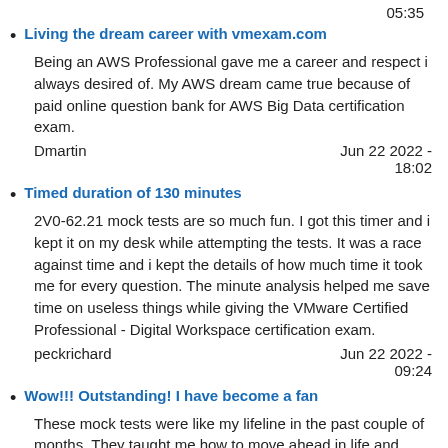05:35
Living the dream career with vmexam.com
Being an AWS Professional gave me a career and respect i always desired of. My AWS dream came true because of paid online question bank for AWS Big Data certification exam.
Dmartin          Jun 22 2022 - 18:02
Timed duration of 130 minutes
2V0-62.21 mock tests are so much fun. I got this timer and i kept it on my desk while attempting the tests. It was a race against time and i kept the details of how much time it took me for every question. The minute analysis helped me save time on useless things while giving the VMware Certified Professional - Digital Workspace certification exam.
peckrichard         Jun 22 2022 - 09:24
Wow!!! Outstanding! I have become a fan
These mock tests were like my lifeline in the past couple of months. They taught me how to move ahead in life and solve problems that we face at every phase. I gradually started